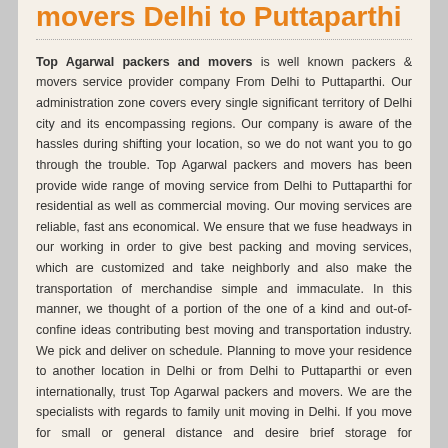movers Delhi to Puttaparthi
Top Agarwal packers and movers is well known packers & movers service provider company From Delhi to Puttaparthi. Our administration zone covers every single significant territory of Delhi city and its encompassing regions. Our company is aware of the hassles during shifting your location, so we do not want you to go through the trouble. Top Agarwal packers and movers has been provide wide range of moving service from Delhi to Puttaparthi for residential as well as commercial moving. Our moving services are reliable, fast ans economical. We ensure that we fuse headways in our working in order to give best packing and moving services, which are customized and take neighborly and also make the transportation of merchandise simple and immaculate. In this manner, we thought of a portion of the one of a kind and out-of-confine ideas contributing best moving and transportation industry. We pick and deliver on schedule. Planning to move your residence to another location in Delhi or from Delhi to Puttaparthi or even internationally, trust Top Agarwal packers and movers. We are the specialists with regards to family unit moving in Delhi. If you move for small or general distance and desire brief storage for comprehensive or restricted time, then freely you might shift toward to Top Agarwal packers and movers for warehousing and store connected with equipment and cargo. We have 19 years of involvement in giving family unit moving from Delhi to Puttaparthi and have every single essential aptitude, innovation and hardware for an